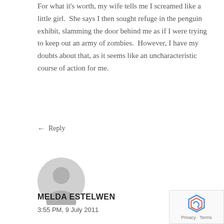For what it’s worth, my wife tells me I screamed like a little girl.  She says I then sought refuge in the penguin exhibit, slamming the door behind me as if I were trying to keep out an army of zombies.  However, I have my doubts about that, as it seems like an uncharacteristic course of action for me.
← Reply
[Figure (illustration): Generic user avatar silhouette in grey circle]
MELDA ESTELWEN
3:55 PM, 9 July 2011